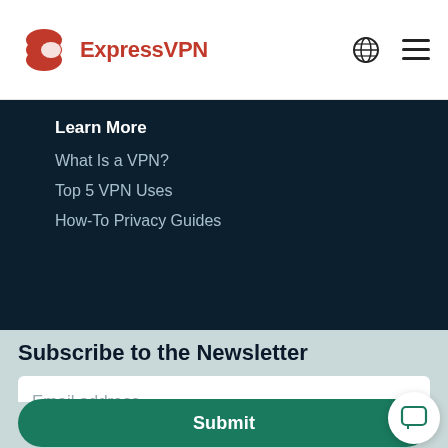ExpressVPN
Learn More
What Is a VPN?
Top 5 VPN Uses
How-To Privacy Guides
Subscribe to the Newsletter
Email address
Submit